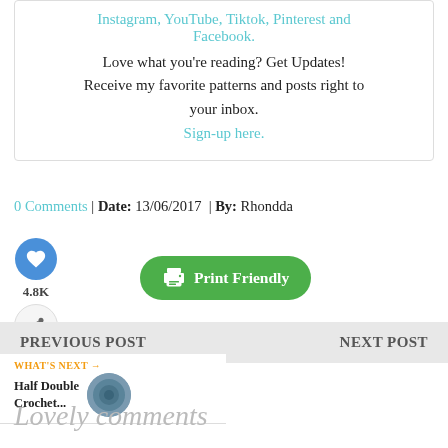Instagram, YouTube, Tiktok, Pinterest and Facebook.
Love what you're reading? Get Updates! Receive my favorite patterns and posts right to your inbox.
Sign-up here.
0 Comments | Date: 13/06/2017 | By: Rhondda
[Figure (infographic): Print Friendly green button with printer icon]
[Figure (infographic): Blue heart like button with 4.8K count and share button]
PREVIOUS POST
NEXT POST
WHAT'S NEXT → Half Double Crochet...
Lovely comments